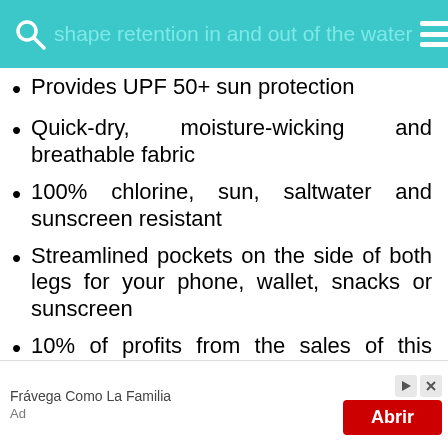shape retention in and out of the water
Provides UPF 50+ sun protection
Quick-dry, moisture-wicking and breathable fabric
100% chlorine, sun, saltwater and sunscreen resistant
Streamlined pockets on the side of both legs for your phone, wallet, snacks or sunscreen
10% of profits from the sales of this product
[Figure (screenshot): Advertisement banner: Frávega Como La Familia with red Abrir button and close/forward icons]